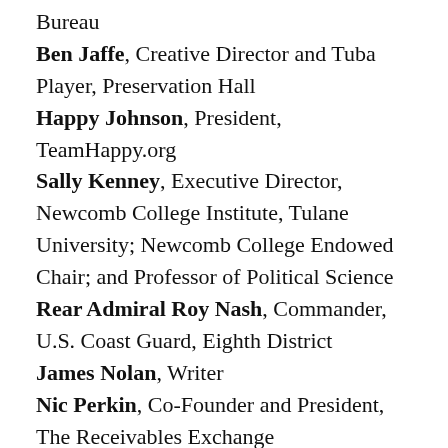Bureau
Ben Jaffe, Creative Director and Tuba Player, Preservation Hall
Happy Johnson, President, TeamHappy.org
Sally Kenney, Executive Director, Newcomb College Institute, Tulane University; Newcomb College Endowed Chair; and Professor of Political Science
Rear Admiral Roy Nash, Commander, U.S. Coast Guard, Eighth District
James Nolan, Writer
Nic Perkin, Co-Founder and President, The Receivables Exchange
David Rebeck Co-Owner and “Ballista,” Piety St. Sno-balls